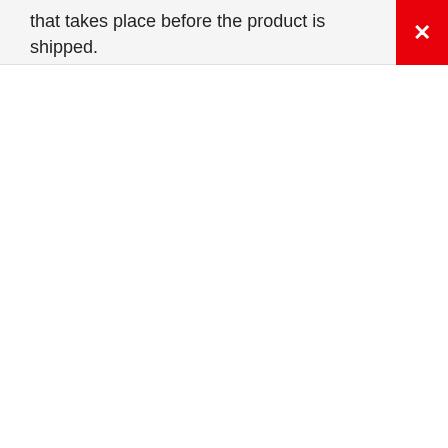that takes place before the product is shipped.